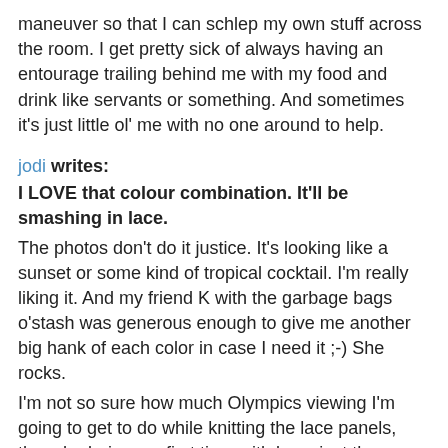maneuver so that I can schlep my own stuff across the room. I get pretty sick of always having an entourage trailing behind me with my food and drink like servants or something. And sometimes it's just little ol' me with no one around to help.
jodi writes: I LOVE that colour combination. It'll be smashing in lace. The photos don't do it justice. It's looking like a sunset or some kind of tropical cocktail. I'm really liking it. And my friend K with the garbage bags o'stash was generous enough to give me another big hank of each color in case I need it ;-) She rocks.
I'm not so sure how much Olympics viewing I'm going to get to do while knitting the lace panels, though...being my first time with lace, just the swatch comsumed my entire focus. Thank goodness for the big stockinette section.
I think your custom buttons look pretty awesome. Were the ones you showed us some of the less messed up ones? The sweater looks fantastic too.Sorry I didn't get a chance to experiment over the weekend to try to help figure that out, it's been a freaking hell few weeks here